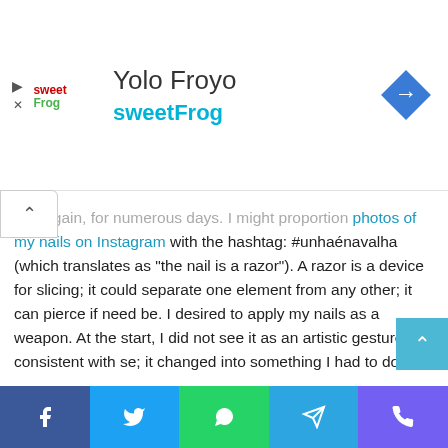[Figure (logo): SweetFrog advertisement banner with logo, title 'Yolo Froyo', subtitle 'sweetFrog', and navigation direction icon (blue diamond with right-turn arrow)]
and again, for numerous days. I might proportion photos of my nails on Instagram with the hashtag: #unhaénavalha (which translates as "the nail is a razor"). A razor is a device for slicing; it could separate one element from any other; it can pierce if need be. I desired to apply my nails as a weapon. At the start, I did not see it as an artistic gesture consistent with se; it changed into something I had to do.
I love your attitude to while your nails wreck and the fact that they may be unapologetically specific lengths, there's a variety of romance in letting pass and letting them be what they may be.